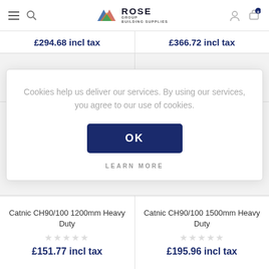[Figure (logo): Rose Group Building Supplies logo with colorful triangle/leaf icon]
£294.68 incl tax
£366.72 incl tax
Cookies help us deliver our services. By using our services, you agree to our use of cookies.
OK
LEARN MORE
Catnic CH90/100 1200mm Heavy Duty
£151.77 incl tax
Catnic CH90/100 1500mm Heavy Duty
£195.96 incl tax